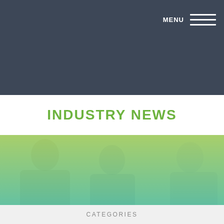MENU
INDUSTRY NEWS
[Figure (photo): Three people in a meeting or discussion, overlaid with a green-to-teal gradient]
CATEGORIES